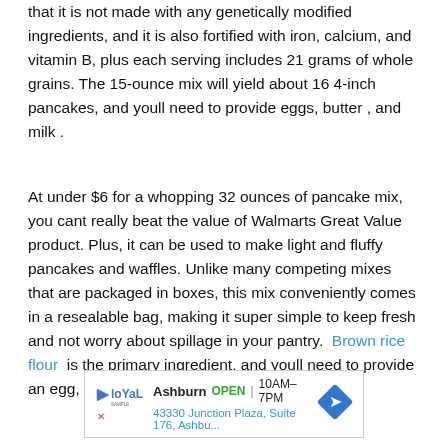that it is not made with any genetically modified ingredients, and it is also fortified with iron, calcium, and vitamin B, plus each serving includes 21 grams of whole grains. The 15-ounce mix will yield about 16 4-inch pancakes, and youll need to provide eggs, butter , and milk .
At under $6 for a whopping 32 ounces of pancake mix, you cant really beat the value of Walmarts Great Value product. Plus, it can be used to make light and fluffy pancakes and waffles. Unlike many competing mixes that are packaged in boxes, this mix conveniently comes in a resealable bag, making it super simple to keep fresh and not worry about spillage in your pantry. Brown rice flour is the primary ingredient, and youll need to provide an egg, milk, and butter in the recipe.
[Figure (other): Advertisement banner showing Loyal company logo, Ashburn location, OPEN 10AM-7PM, address 43330 Junction Plaza, Suite 176, Ashbu..., and a blue diamond navigation arrow icon.]